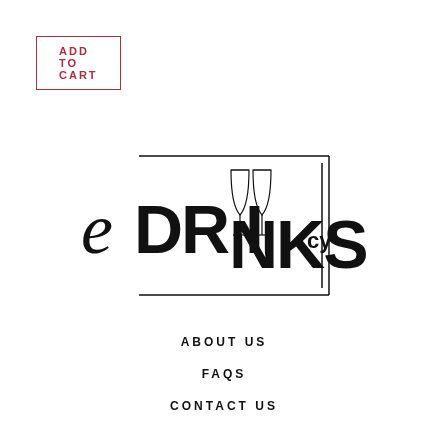ADD TO CART
[Figure (logo): eDRINKScy logo with stylized text and wine glass icons inside a rectangular border]
ABOUT US
FAQS
CONTACT US